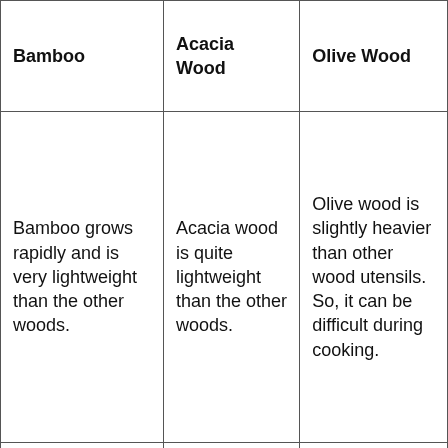| Bamboo | Acacia Wood | Olive Wood |
| --- | --- | --- |
| Bamboo grows rapidly and is very lightweight than the other woods. | Acacia wood is quite lightweight than the other woods. | Olive wood is slightly heavier than other wood utensils. So, it can be difficult during cooking. |
|  | It is dark in color. | It comes with a |